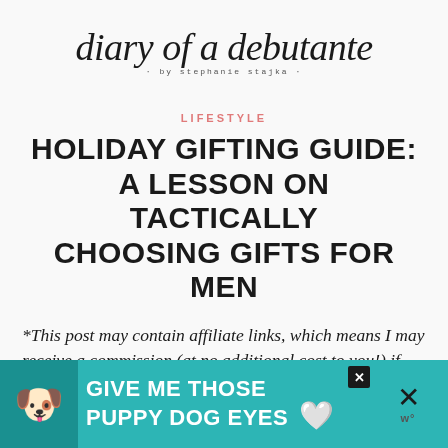[Figure (logo): Diary of a Debutante script logo with subtitle 'by stephanie stajka']
LIFESTYLE
HOLIDAY GIFTING GUIDE: A LESSON ON TACTICALLY CHOOSING GIFTS FOR MEN
*This post may contain affiliate links, which means I may receive a commission (at no additional cost to you!) if you make a purchase using any of these
[Figure (illustration): Teal advertisement banner reading 'GIVE ME THOSE PUPPY DOG EYES' with dog illustration and heart icon]